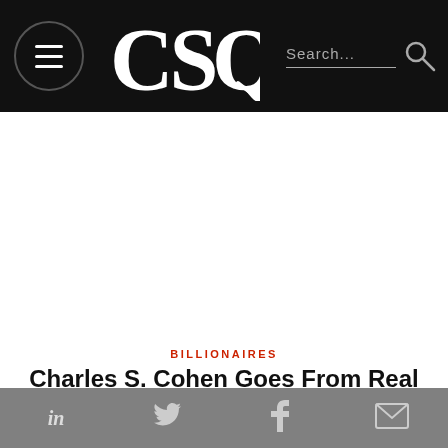CSQ
BILLIONAIRES
Charles S. Cohen Goes From Real Estate to Design, Film to Wine
in  twitter  f  mail